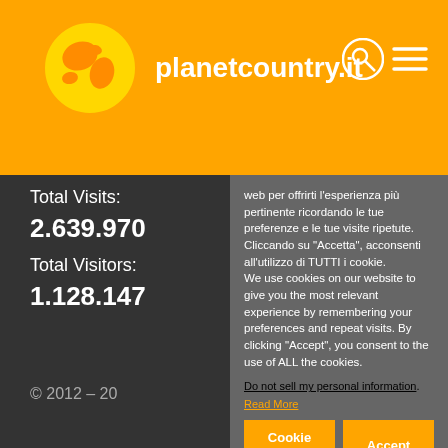planetcountry.it
Total Visits:
2.639.970
Total Visitors:
1.128.147
web per offrirti l'esperienza più pertinente ricordando le tue preferenze e le tue visite ripetute. Cliccando su "Accetta", acconsenti all'utilizzo di TUTTI i cookie.
We use cookies on our website to give you the most relevant experience by remembering your preferences and repeat visits. By clicking "Accept", you consent to the use of ALL the cookies.
Do not sell my personal information.
Read More
© 2012 – 20